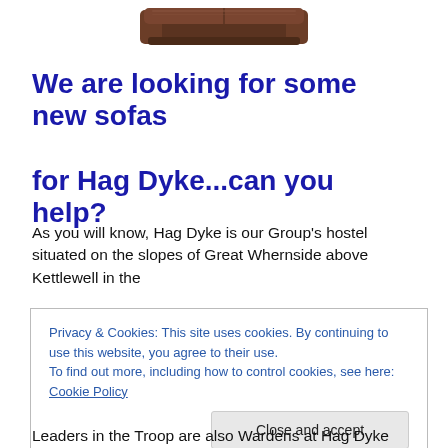[Figure (photo): A dark brown leather sofa/couch viewed from the front, partially visible at the top of the page.]
We are looking for some new sofas for Hag Dyke...can you help?
As you will know, Hag Dyke is our Group's hostel situated on the slopes of Great Whernside above Kettlewell in the
Privacy & Cookies: This site uses cookies. By continuing to use this website, you agree to their use.
To find out more, including how to control cookies, see here: Cookie Policy
Close and accept
Leaders in the Troop are also Wardens at Hag Dyke